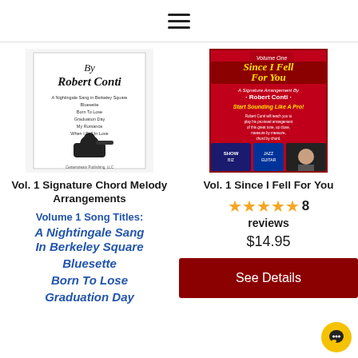≡ (hamburger menu icon)
[Figure (illustration): Black and white book cover: 'By Robert Conti' in cursive with a list of song titles and a man playing guitar]
[Figure (illustration): Colorful book cover: 'Volume One - Since I Fell For You - A Signature Arrangement By Robert Conti - Start Sounding Like A Pro!' with images of musicians and magazines]
Vol. 1 Signature Chord Melody Arrangements
Vol. 1 Since I Fell For You
★★★★★ 8 reviews
$14.95
Volume 1 Song Titles:
A Nightingale Sang In Berkeley Square
Bluesette
Born To Lose
Graduation Day
See Details